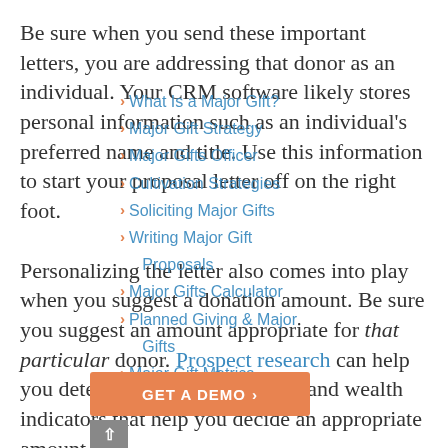Be sure when you send these important letters, you are addressing that donor as an individual. Your CRM software likely stores personal information such as an individual's preferred name and title. Use this information to start your proposal letter off on the right foot.
1. What Is a Major Gift?
2. Major Gift Strategy
3. Major Gifts Officer
4. Cultivation Strategies
5. Soliciting Major Gifts
6. Writing Major Gift Proposals
7. Major Gifts Calculator
8. Planned Giving & Major Gifts
9. Major Gift Metrics
Personalizing the letter also comes into play when you suggest a donation amount. Be sure you suggest an amount appropriate for that particular donor. Prospect research can help you determine the philanthropic and wealth indicators that help you decide an appropriate amount for